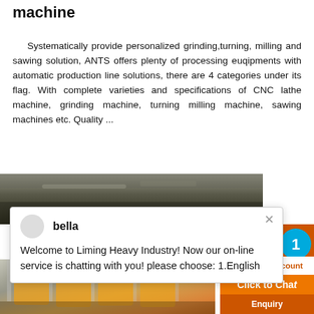machine
Systematically provide personalized grinding,turning, milling and sawing solution, ANTS offers plenty of processing euqipments with automatic production line solutions, there are 4 categories under its flag. With complete varieties and specifications of CNC lathe machine, grinding machine, turning milling machine, sawing machines etc. Quality ...
[Figure (photo): Top photo showing industrial machinery or material processing equipment, dark tones]
[Figure (screenshot): Chat popup from Liming Heavy Industry with avatar named 'bella' and message: Welcome to Liming Heavy Industry! Now our on-line service is chatting with you! please choose: 1.English]
[Figure (photo): Bottom photo showing yellow industrial crushing/mining machines in a factory hall]
[Figure (infographic): Orange sidebar with machine image, blue circle with number 1, Enjoy 3% discount bar, Click to Chat bar, and Enquiry text]